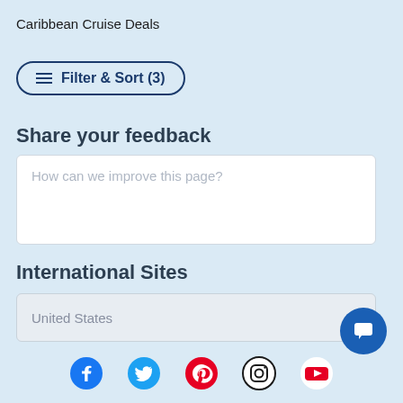Caribbean Cruise Deals
Filter & Sort (3)
Share your feedback
How can we improve this page?
International Sites
United States
[Figure (infographic): Social media icons row: Facebook, Twitter, Pinterest, Instagram, YouTube]